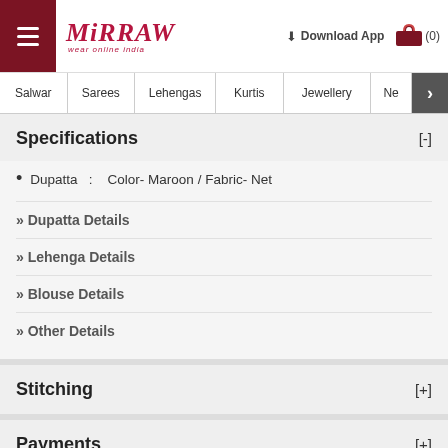Mirraw - wear online india | Download App | (0)
Salwar | Sarees | Lehengas | Kurtis | Jewellery | Ne >
Specifications [-]
Dupatta : Color- Maroon / Fabric- Net
» Dupatta Details
» Lehenga Details
» Blouse Details
» Other Details
Stitching [+]
Payments [+]